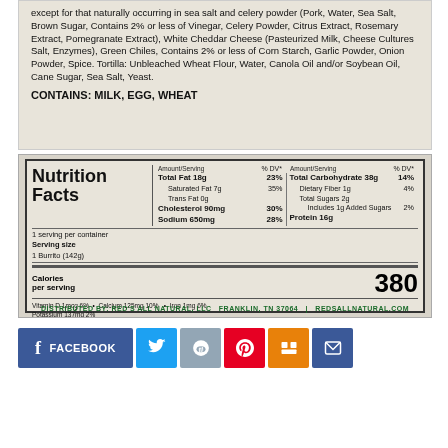[Figure (photo): Ingredient list photo from food packaging showing ingredients text and allergen statement CONTAINS: MILK, EGG, WHEAT]
[Figure (photo): Nutrition Facts label photo for 1 Burrito (142g), 380 Calories per serving, showing macronutrients and micronutrients]
[Figure (infographic): Social sharing buttons: Facebook, Twitter, Reddit, Pinterest, Mix, Email]